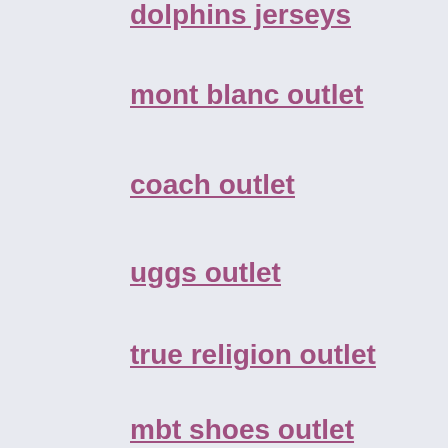dolphins jerseys
mont blanc outlet
coach outlet
uggs outlet
true religion outlet
mbt shoes outlet